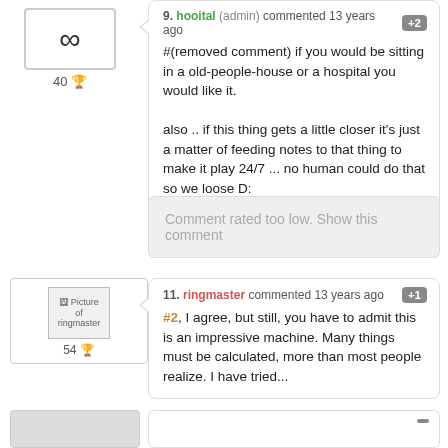9. hooital (admin) commented 13 years ago +2
#(removed comment) if you would be sitting in a old-people-house or a hospital you would like it.

also .. if this thing gets a little closer it's just a matter of feeding notes to that thing to make it play 24/7 ... no human could do that so we loose D:
Comment rated too low. Show this comment
11. ringmaster commented 13 years ago +1
#2, I agree, but still, you have to admit this is an impressive machine. Many things must be calculated, more than most people realize. I have tried...